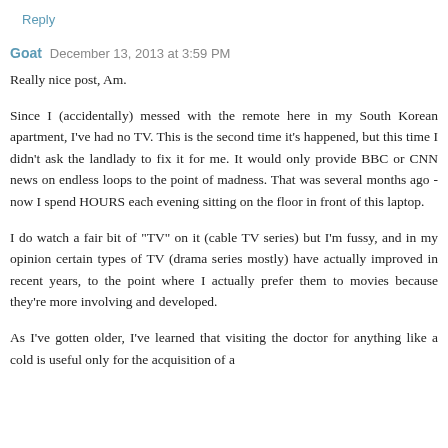Reply
Goat  December 13, 2013 at 3:59 PM
Really nice post, Am.
Since I (accidentally) messed with the remote here in my South Korean apartment, I've had no TV. This is the second time it's happened, but this time I didn't ask the landlady to fix it for me. It would only provide BBC or CNN news on endless loops to the point of madness. That was several months ago - now I spend HOURS each evening sitting on the floor in front of this laptop.
I do watch a fair bit of "TV" on it (cable TV series) but I'm fussy, and in my opinion certain types of TV (drama series mostly) have actually improved in recent years, to the point where I actually prefer them to movies because they're more involving and developed.
As I've gotten older, I've learned that visiting the doctor for anything like a cold is useful only for the acquisition of a